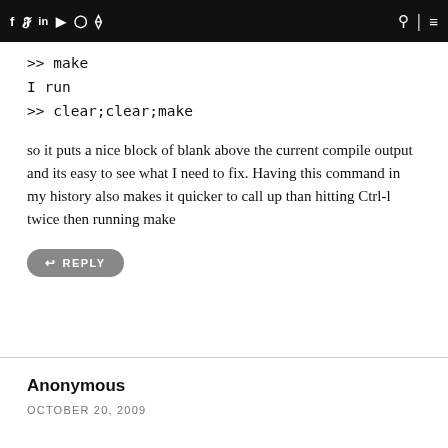Social media icons navigation bar with search and menu
>> make
I run
>> clear;clear;make
so it puts a nice block of blank above the current compile output and its easy to see what I need to fix. Having this command in my history also makes it quicker to call up than hitting Ctrl-l twice then running make
REPLY
Anonymous
OCTOBER 20, 2009